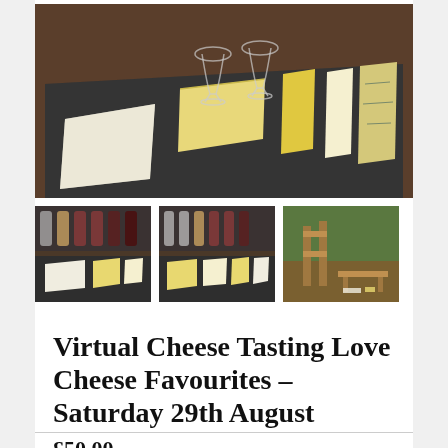[Figure (photo): Main hero photo: a dark slate board on a wooden table with several wedges and blocks of cheese arranged on it, plus two wine glasses in the background]
[Figure (photo): Thumbnail 1: glasses of wine/drinks and cheese slices laid out on a slate board, similar setting to main photo]
[Figure (photo): Thumbnail 2: glasses of drinks and cheese pieces on a slate board, similar cheese tasting arrangement]
[Figure (photo): Thumbnail 3: outdoor garden or courtyard setting with wooden furniture and green foliage]
Virtual Cheese Tasting Love Cheese Favourites – Saturday 29th August
£50.00